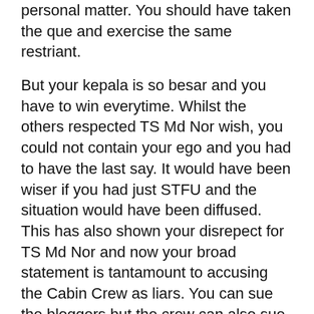personal matter. You should have taken the que and exercise the same restriant.
But your kepala is so besar and you have to win everytime. Whilst the others respected TS Md Nor wish, you could not contain your ego and you had to have the last say. It would have been wiser if you had just STFU and the situation would have been diffused. This has also shown your disrepect for TS Md Nor and now your broad statement is tantamount to accusing the Cabin Crew as liars. You can sue the bloggers but the crew can also sue you for calling them liars.
This is a perfect example of the way you bully your way around in MAS and